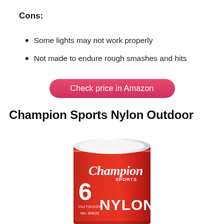Cons:
Some lights may not work properly
Not made to endure rough smashes and hits
[Figure (other): Pink/red pill-shaped button with text 'Check price in Amazon']
Champion Sports Nylon Outdoor
[Figure (photo): Red cylindrical can with Champion Sports branding, showing '6 OUTDOOR NYLON NO.SHN20' text on label]